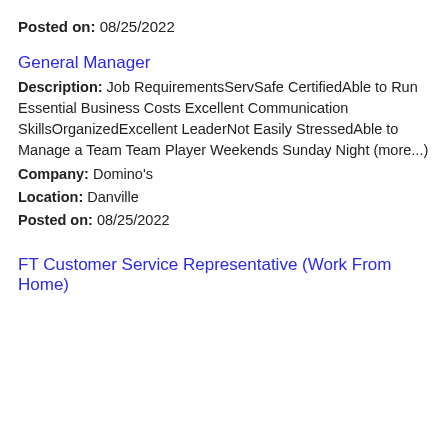Posted on: 08/25/2022
General Manager
Description: Job RequirementsServSafe CertifiedAble to Run Essential Business Costs Excellent Communication SkillsOrganizedExcellent LeaderNot Easily StressedAble to Manage a Team Team Player Weekends Sunday Night (more...)
Company: Domino's
Location: Danville
Posted on: 08/25/2022
FT Customer Service Representative (Work From Home)